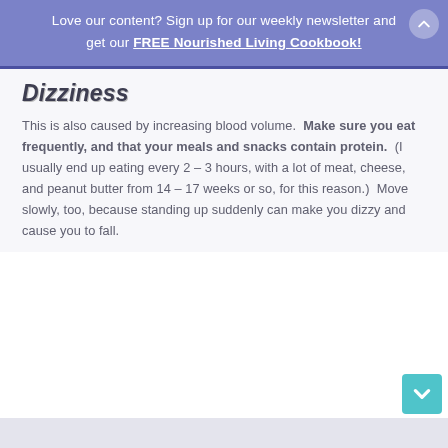Love our content? Sign up for our weekly newsletter and get our FREE Nourished Living Cookbook!
Dizziness
This is also caused by increasing blood volume. Make sure you eat frequently, and that your meals and snacks contain protein. (I usually end up eating every 2 – 3 hours, with a lot of meat, cheese, and peanut butter from 14 – 17 weeks or so, for this reason.) Move slowly, too, because standing up suddenly can make you dizzy and cause you to fall.